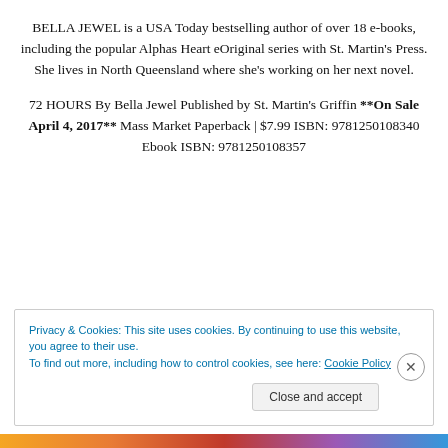BELLA JEWEL is a USA Today bestselling author of over 18 e-books, including the popular Alphas Heart eOriginal series with St. Martin's Press. She lives in North Queensland where she's working on her next novel.
72 HOURS By Bella Jewel Published by St. Martin's Griffin **On Sale April 4, 2017** Mass Market Paperback | $7.99 ISBN: 9781250108340 Ebook ISBN: 9781250108357
Privacy & Cookies: This site uses cookies. By continuing to use this website, you agree to their use. To find out more, including how to control cookies, see here: Cookie Policy
Close and accept